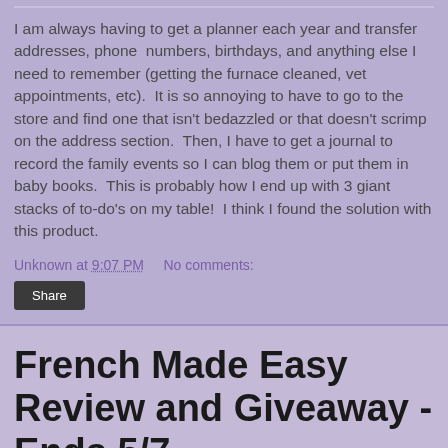I am always having to get a planner each year and transfer addresses, phone  numbers, birthdays, and anything else I need to remember (getting the furnace cleaned, vet appointments, etc).  It is so annoying to have to go to the store and find one that isn't bedazzled or that doesn't scrimp on the address section.  Then, I have to get a journal to record the family events so I can blog them or put them in baby books.  This is probably how I end up with 3 giant stacks of to-do's on my table!  I think I found the solution with this product.
Unknown at 9:07 PM    No comments:
Share
French Made Easy Review and Giveaway - Ends 5/7
-Guest Post-